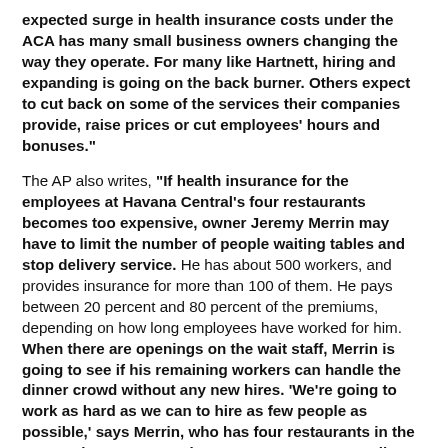expected surge in health insurance costs under the ACA has many small business owners changing the way they operate. For many like Hartnett, hiring and expanding is going on the back burner. Others expect to cut back on some of the services their companies provide, raise prices or cut employees' hours and bonuses."
The AP also writes, "If health insurance for the employees at Havana Central's four restaurants becomes too expensive, owner Jeremy Merrin may have to limit the number of people waiting tables and stop delivery service. He has about 500 workers, and provides insurance for more than 100 of them. He pays between 20 percent and 80 percent of the premiums, depending on how long employees have worked for him. When there are openings on the wait staff, Merrin is going to see if his remaining workers can handle the dinner crowd without any new hires. 'We're going to work as hard as we can to hire as few people as possible,' says Merrin, who has four restaurants in the New York metro area. That's a strategy many small business owners are considering. In a U.S. Chamber of Commerce survey released last